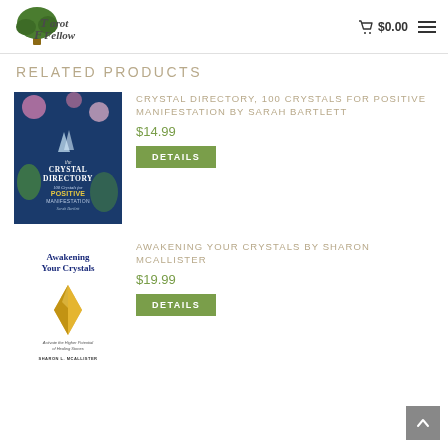Tarot Fellow — $0.00 cart
RELATED PRODUCTS
[Figure (photo): Book cover: The Crystal Directory, 100 Crystals for Positive Manifestation by Sarah Bartlett — dark blue cover with crystals and flowers]
CRYSTAL DIRECTORY, 100 CRYSTALS FOR POSITIVE MANIFESTATION BY SARAH BARTLETT
$14.99
DETAILS
[Figure (photo): Book cover: Awakening Your Crystals by Sharon McAllister — white cover with golden crystal and subtitle 'Activate the Higher Potential of Healing Stones']
AWAKENING YOUR CRYSTALS BY SHARON MCALLISTER
$19.99
DETAILS